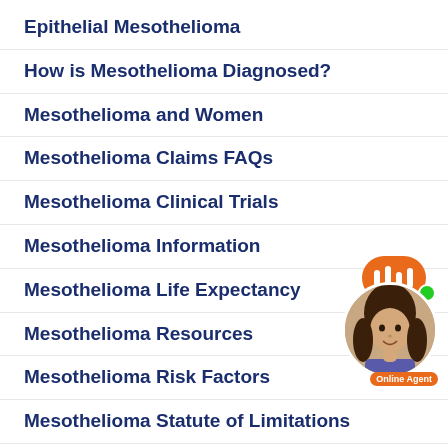Epithelial Mesothelioma
How is Mesothelioma Diagnosed?
Mesothelioma and Women
Mesothelioma Claims FAQs
Mesothelioma Clinical Trials
Mesothelioma Information
Mesothelioma Life Expectancy
Mesothelioma Resources
Mesothelioma Risk Factors
Mesothelioma Statute of Limitations
[Figure (illustration): Online chat agent widget showing a woman's avatar with orange speech bubble and green online dot, labeled 'Online Agent']